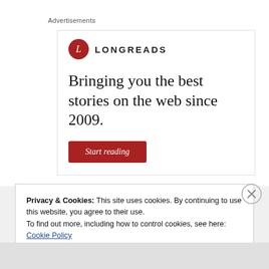Advertisements
[Figure (illustration): Longreads advertisement banner with logo (red circle with L), headline 'Bringing you the best stories on the web since 2009.' and a red 'Start reading' button]
Privacy & Cookies: This site uses cookies. By continuing to use this website, you agree to their use.
To find out more, including how to control cookies, see here: Cookie Policy
Close and accept